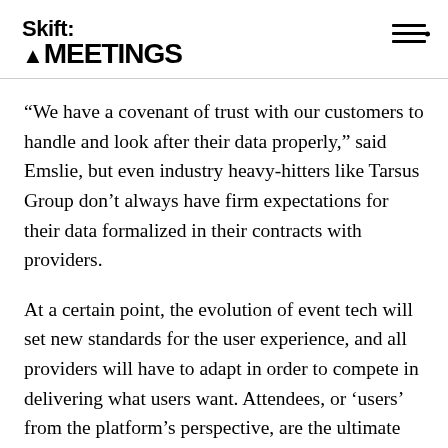Skift MEETINGS
“We have a covenant of trust with our customers to handle and look after their data properly,” said Emslie, but even industry heavy-hitters like Tarsus Group don’t always have firm expectations for their data formalized in their contracts with providers.
At a certain point, the evolution of event tech will set new standards for the user experience, and all providers will have to adapt in order to compete in delivering what users want. Attendees, or ‘users’ from the platform’s perspective, are the ultimate stakeholders.